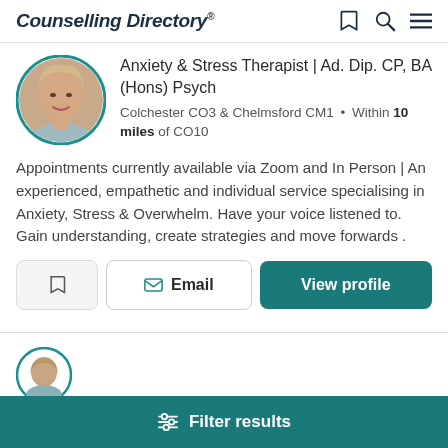Counselling Directory
Anxiety & Stress Therapist | Ad. Dip. CP, BA (Hons) Psych
Colchester CO3 & Chelmsford CM1 • Within 10 miles of CO10
Appointments currently available via Zoom and In Person | An experienced, empathetic and individual service specialising in Anxiety, Stress & Overwhelm. Have your voice listened to. Gain understanding, create strategies and move forwards .
Email | View profile
Filter results